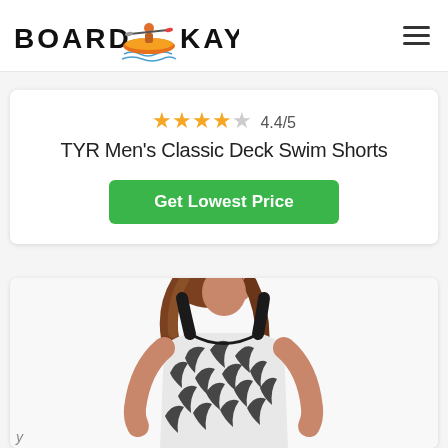[Figure (logo): BoardKayak logo with kayaker icon and orange accent bar]
4.4/5
TYR Men's Classic Deck Swim Shorts
Get Lowest Price
[Figure (photo): Woman wearing black and white tropical leaf print swimsuit/tankini, cropped at waist, brown hair, white background]